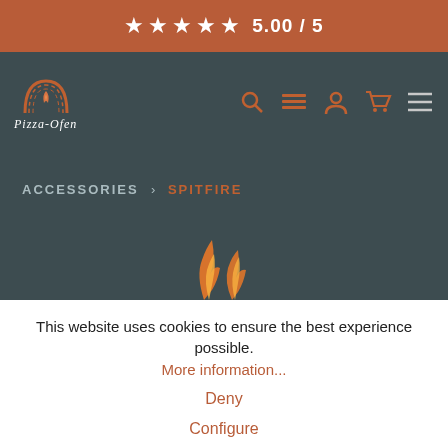★★★★★ 5.00 / 5
[Figure (logo): Pizza-Ofen logo with pizza oven icon and navigation icons (search, list, user, cart, menu)]
ACCESSORIES > SPITFIRE
[Figure (photo): Flames/fire image on dark background]
This website uses cookies to ensure the best experience possible.
More information...
Deny
Configure
Select all and close